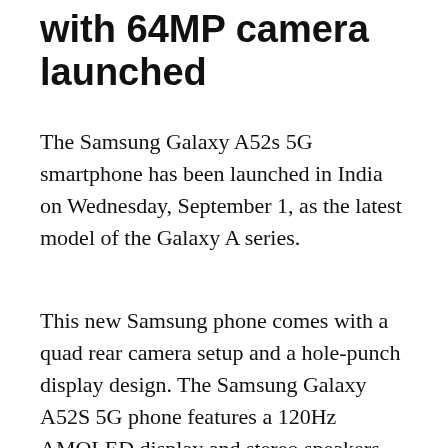with 64MP camera launched
The Samsung Galaxy A52s 5G smartphone has been launched in India on Wednesday, September 1, as the latest model of the Galaxy A series.
This new Samsung phone comes with a quad rear camera setup and a hole-punch display design. The Samsung Galaxy A52S 5G phone features a 120Hz AMOLED display and stereo speakers with Dolby Atmos sound.